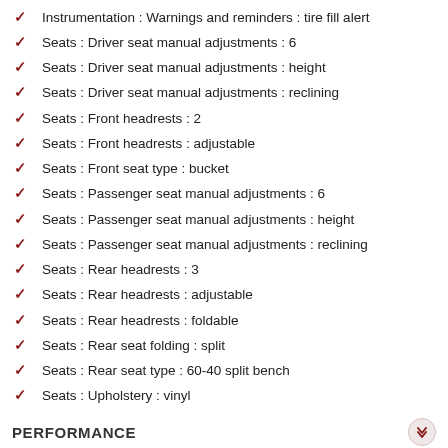Instrumentation : Warnings and reminders : tire fill alert
Seats : Driver seat manual adjustments : 6
Seats : Driver seat manual adjustments : height
Seats : Driver seat manual adjustments : reclining
Seats : Front headrests : 2
Seats : Front headrests : adjustable
Seats : Front seat type : bucket
Seats : Passenger seat manual adjustments : 6
Seats : Passenger seat manual adjustments : height
Seats : Passenger seat manual adjustments : reclining
Seats : Rear headrests : 3
Seats : Rear headrests : adjustable
Seats : Rear headrests : foldable
Seats : Rear seat folding : split
Seats : Rear seat type : 60-40 split bench
Seats : Upholstery : vinyl
PERFORMANCE
Powertrain : 4WD selector : electronic hi-lo
Powertrain : 4WD type : part time w/ on demand